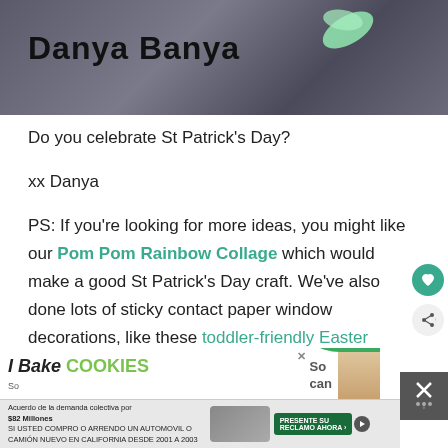[Figure (screenshot): Blog header image with dark background showing 'Danya Banya' blog name in bold black text, with a light green leaf/shamrock design in the upper right]
Do you celebrate St Patrick's Day?
xx Danya
PS: If you're looking for more ideas, you might like our Pom Pom Rainbow Collage which would make a good St Patrick's Day craft. We've also done lots of sticky contact paper window decorations, like these toddler-friendly Easter 'Stained Glass' windows.
[Figure (screenshot): Advertisement banner for 'I Bake COOKIES' website with green and white design, showing a woman's photo and 'So can' text with cookies badge]
[Figure (screenshot): Spanish-language advertisement for class action lawsuit settlement: 'Acuerdo de la demanda colectiva por $82 Millones' about California automobile purchases 2001-2003]